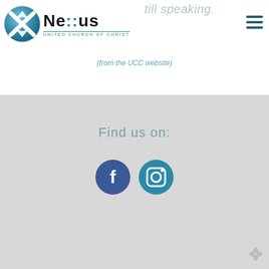[Figure (logo): Nexus United Church of Christ logo with blue circular icon and text]
till speaking.
(from the UCC website)
Find us on:
[Figure (illustration): Facebook and Instagram social media icons]
[Figure (illustration): Small flower/yelp watermark icon at bottom right]